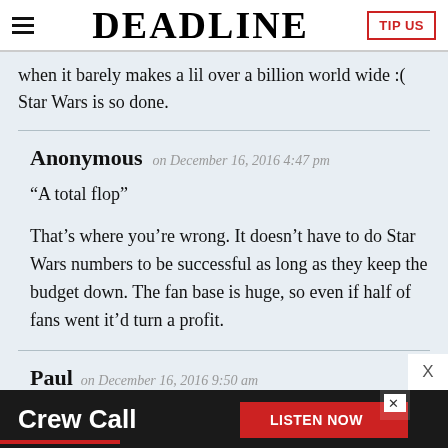DEADLINE
when it barely makes a lil over a billion world wide :( Star Wars is so done.
Anonymous on December 16, 2016 4:47 pm
“A total flop”

That’s where you’re wrong. It doesn’t have to do Star Wars numbers to be successful as long as they keep the budget down. The fan base is huge, so even if half of fans went it’d turn a profit.
Paul on December 16, 2016 9:50 am
[Figure (screenshot): Advertisement banner for 'Crew Call' podcast with LISTEN NOW button]